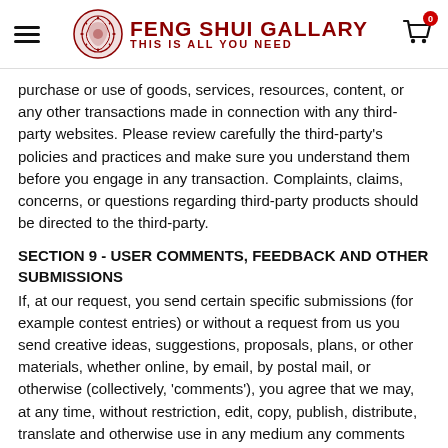FENG SHUI GALLARY - THIS IS ALL YOU NEED
purchase or use of goods, services, resources, content, or any other transactions made in connection with any third-party websites. Please review carefully the third-party's policies and practices and make sure you understand them before you engage in any transaction. Complaints, claims, concerns, or questions regarding third-party products should be directed to the third-party.
SECTION 9 - USER COMMENTS, FEEDBACK AND OTHER SUBMISSIONS
If, at our request, you send certain specific submissions (for example contest entries) or without a request from us you send creative ideas, suggestions, proposals, plans, or other materials, whether online, by email, by postal mail, or otherwise (collectively, 'comments'), you agree that we may, at any time, without restriction, edit, copy, publish, distribute, translate and otherwise use in any medium any comments